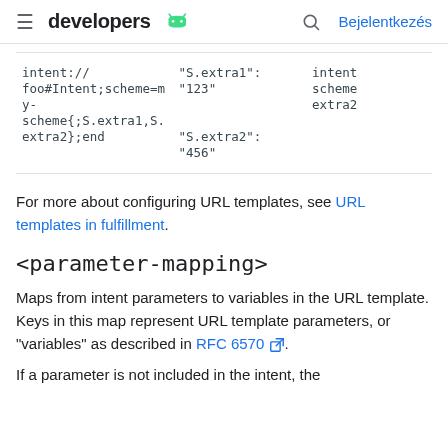developers | Bejelentkezés
| Column1 | Column2 | Column3 |
| --- | --- | --- |
| intent://foo#Intent;scheme=my-scheme{;S.extra1,S.extra2};end | "S.extra1": "123"

"S.extra2": "456" | intent scheme extra2 |
For more about configuring URL templates, see URL templates in fulfillment.
<parameter-mapping>
Maps from intent parameters to variables in the URL template. Keys in this map represent URL template parameters, or "variables" as described in RFC 6570.
If a parameter is not included in the intent, the